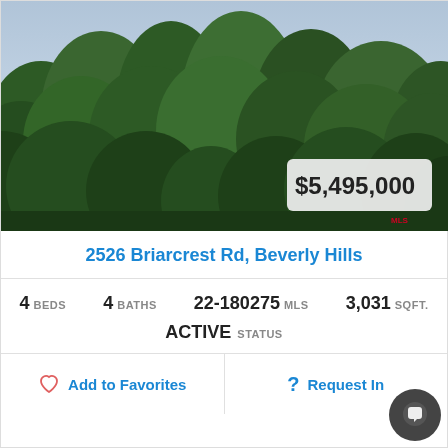[Figure (photo): Aerial view of a Beverly Hills property surrounded by dense trees with mountains in the background; a pool is visible through the canopy.]
2526 Briarcrest Rd, Beverly Hills
4 BEDS  4 BATHS  22-180275 MLS  3,031 SQFT.  ACTIVE STATUS
Add to Favorites  Request Info